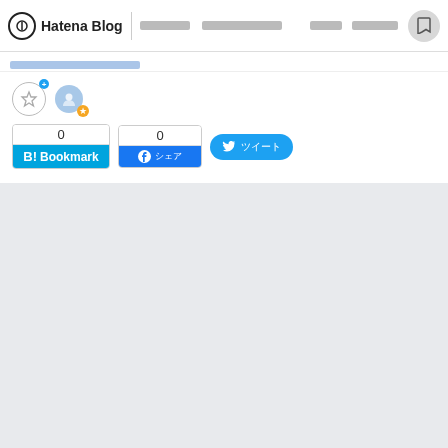Hatena Blog navigation bar with logo, nav links, and bookmark button
[Figure (screenshot): Hatena Blog social sharing widget area with Hatena Bookmark (count: 0), Facebook share (count: 0), and Twitter share buttons, plus user icons]
[Figure (other): Gray empty content area below the social sharing buttons]